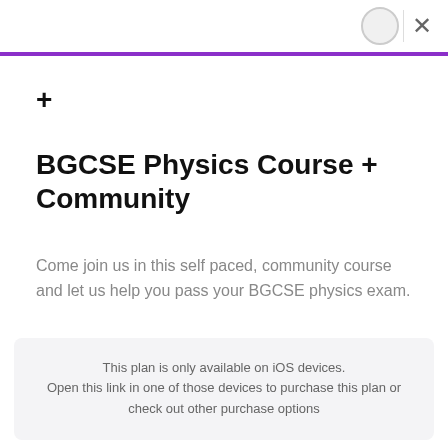+
BGCSE Physics Course + Community
Come join us in this self paced, community course and let us help you pass your BGCSE physics exam.
This plan is only available on iOS devices. Open this link in one of those devices to purchase this plan or check out other purchase options